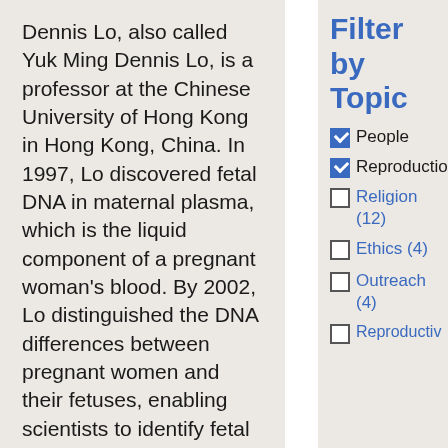Dennis Lo, also called Yuk Ming Dennis Lo, is a professor at the Chinese University of Hong Kong in Hong Kong, China. In 1997, Lo discovered fetal DNA in maternal plasma, which is the liquid component of a pregnant woman's blood. By 2002, Lo distinguished the DNA differences between pregnant women and their fetuses, enabling scientists to identify fetal DNA in pregnant women's blood. Lo used his discoveries to develop several
Filter by Topic
People (checked)
Reproduction (checked)
Religion (12)
Ethics (4)
Outreach (4)
Reproductiv...